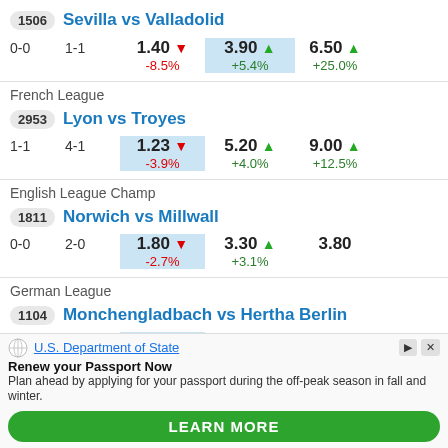1506 Sevilla vs Valladolid
| Score1 | Score2 | Home | Draw | Away |
| --- | --- | --- | --- | --- |
| 0-0 | 1-1 | 1.40 ▼ -8.5% | 3.90 ▲ +5.4% | 6.50 ▲ +25.0% |
French League
2953 Lyon vs Troyes
| Score1 | Score2 | Home | Draw | Away |
| --- | --- | --- | --- | --- |
| 1-1 | 4-1 | 1.23 ▼ -3.9% | 5.20 ▲ +4.0% | 9.00 ▲ +12.5% |
English League Champ
1811 Norwich vs Millwall
| Score1 | Score2 | Home | Draw | Away |
| --- | --- | --- | --- | --- |
| 0-0 | 2-0 | 1.80 ▼ -2.7% | 3.30 ▲ +3.1% | 3.80 |
German League
1104 Monchengladbach vs Hertha Berlin
[Figure (infographic): Advertisement: U.S. Department of State - Renew your Passport Now. Plan ahead by applying for your passport during the off-peak season in fall and winter. Learn More button.]